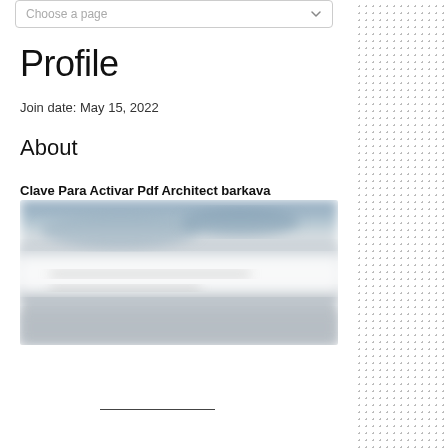Choose a page
Profile
Join date: May 15, 2022
About
Clave Para Activar Pdf Architect barkava
[Figure (photo): Blurred/redacted image with blue-grey tones at top and grey-white gradient below, likely a screenshot of a document or webpage that has been blurred for privacy.]